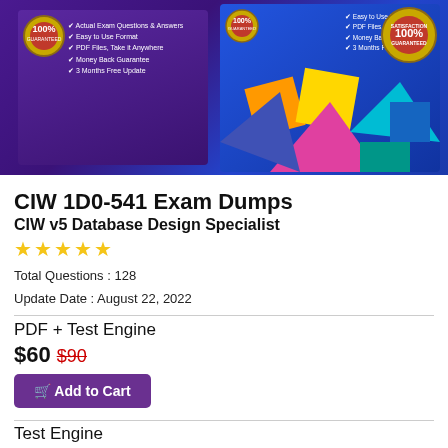[Figure (photo): Product box images for CIW 1D0-541 exam dumps showing two boxes with purple and blue backgrounds, checkmark feature lists, colorful geometric shapes, gold badge and satisfaction guaranteed seal]
CIW 1D0-541 Exam Dumps
CIW v5 Database Design Specialist
★★★★★
Total Questions : 128
Update Date : August 22, 2022
PDF + Test Engine
$60 $90
Add to Cart
Test Engine